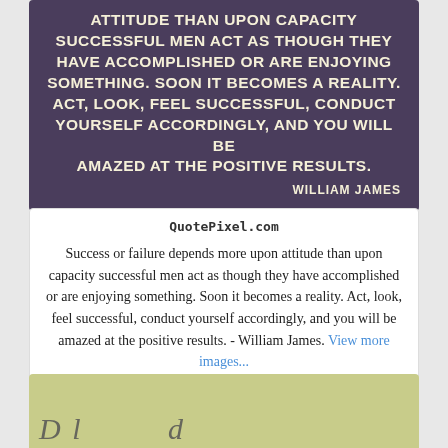[Figure (illustration): Dark purple/violet quote card with bold cream uppercase text: 'ATTITUDE THAN UPON CAPACITY SUCCESSFUL MEN ACT AS THOUGH THEY HAVE ACCOMPLISHED OR ARE ENJOYING SOMETHING. SOON IT BECOMES A REALITY. ACT, LOOK, FEEL SUCCESSFUL, CONDUCT YOURSELF ACCORDINGLY, AND YOU WILL BE AMAZED AT THE POSITIVE RESULTS.' Attribution: WILLIAM JAMES]
QuotePixel.com
Success or failure depends more upon attitude than upon capacity successful men act as though they have accomplished or are enjoying something. Soon it becomes a reality. Act, look, feel successful, conduct yourself accordingly, and you will be amazed at the positive results. - William James. View more images...
[Figure (illustration): Light yellow-green card partially visible at bottom of page with cursive/script text starting to appear]